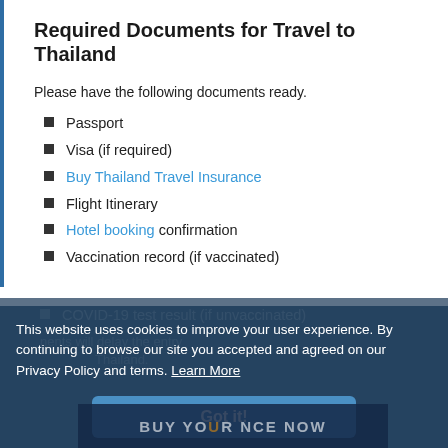Required Documents for Travel to Thailand
Please have the following documents ready.
Passport
Visa (if required)
Buy Thailand Travel Insurance
Flight Itinerary
Hotel booking confirmation
Vaccination record (if vaccinated)
COVID-19 test result (if unvaccinated)
This website uses cookies to improve your user experience. By continuing to browse our site you accepted and agreed on our Privacy Policy and terms. Learn More
Got it!